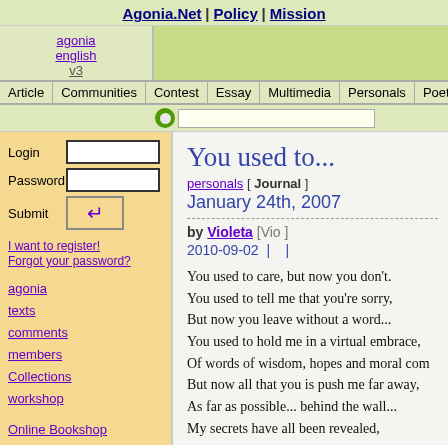Agonia.Net | Policy | Mission
agonia english v3
Article | Communities | Contest | Essay | Multimedia | Personals | Poetry | Pre
You used to...
personals [ Journal ]
January 24th, 2007
by Violeta [Vio ]
2010-09-02 |    |
You used to care, but now you don't.
You used to tell me that you're sorry,
But now you leave without a word...
You used to hold me in a virtual embrace,
Of words of wisdom, hopes and moral com
But now all that you is push me far away,
As far as possible... behind the wall...
My secrets have all been revealed,
Login
Password
Submit
I want to register!
Forgot your password?
agonia
texts
comments
members
Collections
workshop
Online Bookshop
classics
chat
photo
Literary TopSites
links